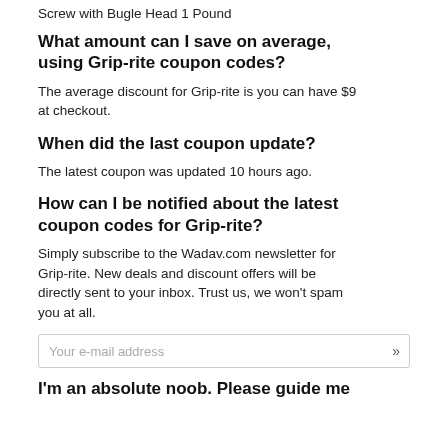Screw with Bugle Head 1 Pound
What amount can I save on average, using Grip-rite coupon codes?
The average discount for Grip-rite is you can have $9 at checkout.
When did the last coupon update?
The latest coupon was updated 10 hours ago.
How can I be notified about the latest coupon codes for Grip-rite?
Simply subscribe to the Wadav.com newsletter for Grip-rite. New deals and discount offers will be directly sent to your inbox. Trust us, we won't spam you at all.
Your e-mail address
I'm an absolute noob. Please guide me